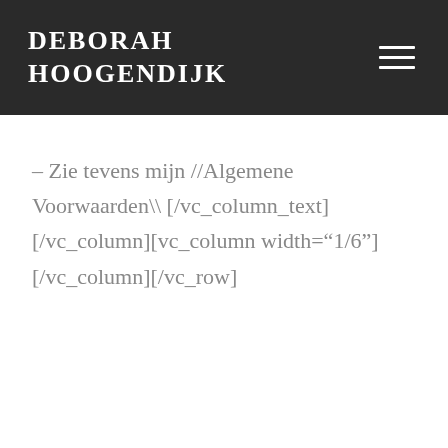DEBORAH HOOGENDIJK
– Zie tevens mijn //Algemene Voorwaarden\ [/vc_column_text][/vc_column][vc_column width="1/6"][/vc_column][/vc_row]